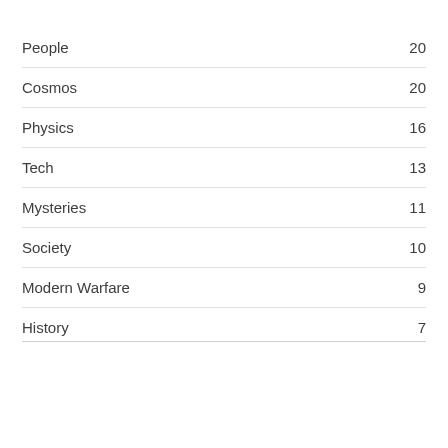People 20
Cosmos 20
Physics 16
Tech 13
Mysteries 11
Society 10
Modern Warfare 9
History 7